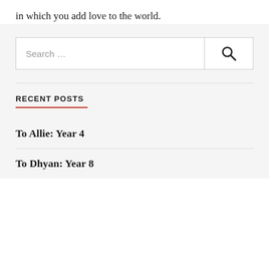in which you add love to the world.
[Figure (other): Search bar with text input field showing 'Search ...' placeholder and a magnifying glass search button on the right]
RECENT POSTS
To Allie: Year 4
To Dhyan: Year 8